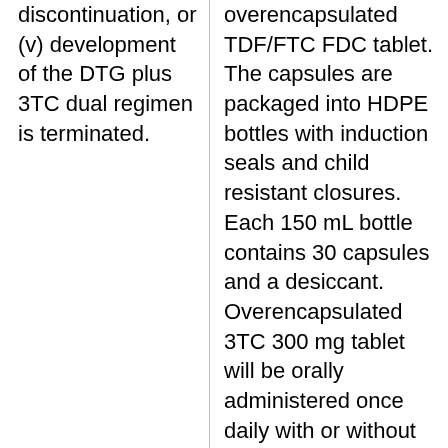discontinuation, or (v) development of the DTG plus 3TC dual regimen is terminated.
overencapsulated TDF/FTC FDC tablet. The capsules are packaged into HDPE bottles with induction seals and child resistant closures. Each 150 mL bottle contains 30 capsules and a desiccant. Overencapsulated 3TC 300 mg tablet will be orally administered once daily with or without food upto 96 weeks. From Week 96 to Week 148, lamivudine will be dispensed as 300 mg white, diamond shaped, scored, film coated tablets debossed with 'GX CJ7' on both sides, packed in over